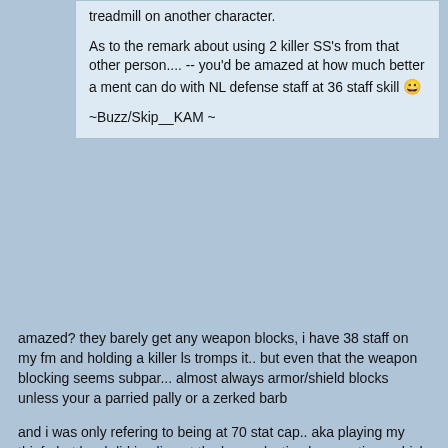treadmill on another character.

As to the remark about using 2 killer SS's from that other person.... -- you'd be amazed at how much better a ment can do with NL defense staff at 36 staff skill 😀

~Buzz/Skip__KAM ~
amazed? they barely get any weapon blocks, i have 38 staff on my fm and holding a killer ls tromps it.. but even that the weapon blocking seems subpar... almost always armor/shield blocks unless your a parried pally or a zerked barb
and i was only refering to being at 70 stat cap.. aka playing my thief.. but brad did impliment the longer lasting brew potions which i haven't played with yet but i assume would be worth having on ya in the area where every bottle in ur sack gets broken <G>
[Figure (screenshot): Game screenshot showing a grid of character portraits and inventory/card slots in a fantasy RPG game. Two rows of four character images each, with adjacent blank tan/beige card slots. Characters include warriors, archers, and robed figures on grass backgrounds. A third partial row is visible at the bottom.]